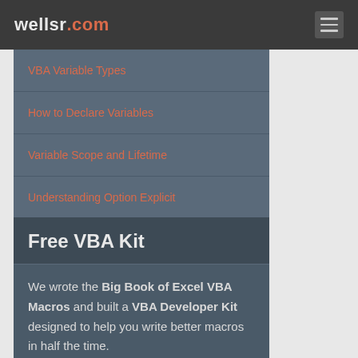wellsr.com
VBA Variable Types
How to Declare Variables
Variable Scope and Lifetime
Understanding Option Explicit
Free VBA Kit
We wrote the Big Book of Excel VBA Macros and built a VBA Developer Kit designed to help you write better macros in half the time.